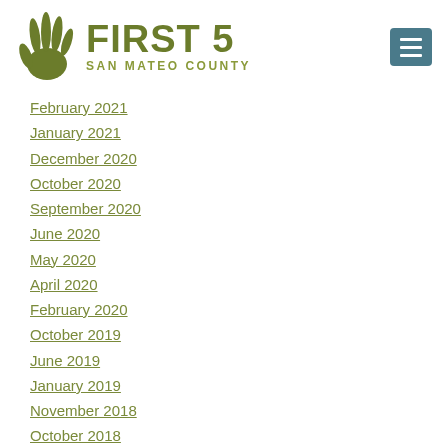[Figure (logo): First 5 San Mateo County logo with green hand icon and text]
February 2021
January 2021
December 2020
October 2020
September 2020
June 2020
May 2020
April 2020
February 2020
October 2019
June 2019
January 2019
November 2018
October 2018
July 2018